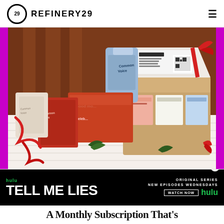REFINERY29
[Figure (photo): A holiday gift box arrangement featuring Common Voice branded products — coffee bags, card game boxes, and subscription boxes in red, orange, and blue packaging, with red ribbons and pine sprigs on a white surface. An open brown cardboard box is visible at right with packaged items inside.]
[Figure (screenshot): Hulu advertisement banner for 'Tell Me Lies' — black background, green Hulu logo on left, large white text 'TELL ME LIES', with 'ORIGINAL SERIES NEW EPISODES WEDNESDAYS' and 'WATCH NOW' button and Hulu logo on right.]
A Monthly Subscription That's